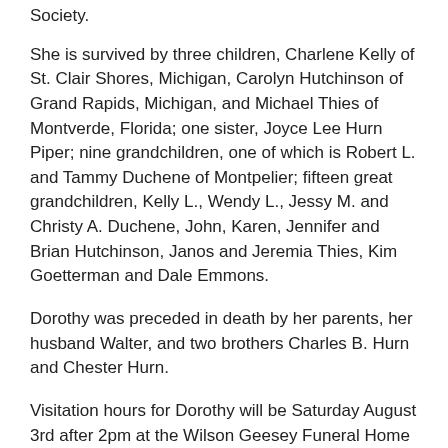Society.
She is survived by three children, Charlene Kelly of St. Clair Shores, Michigan, Carolyn Hutchinson of Grand Rapids, Michigan, and Michael Thies of Montverde, Florida; one sister, Joyce Lee Hurn Piper; nine grandchildren, one of which is Robert L. and Tammy Duchene of Montpelier; fifteen great grandchildren, Kelly L., Wendy L., Jessy M. and Christy A. Duchene, John, Karen, Jennifer and Brian Hutchinson, Janos and Jeremia Thies, Kim Goetterman and Dale Emmons.
Dorothy was preceded in death by her parents, her husband Walter, and two brothers Charles B. Hurn and Chester Hurn.
Visitation hours for Dorothy will be Saturday August 3rd after 2pm at the Wilson Geesey Funeral Home in Montpelier.  A funeral service will be held at 5:30pm with Deacon Dennis C. Jackson to officiate.  Donations may be made to Visiting Nurses and Hospice of Williams and Fulton Counties.